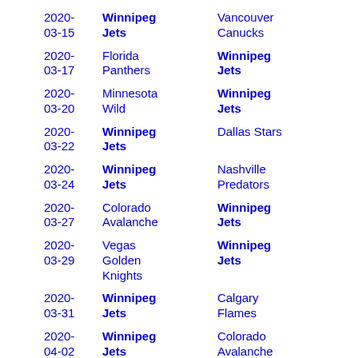| Date | Home/Away Team | Opponent |
| --- | --- | --- |
| 2020-03-15 | Winnipeg Jets | Vancouver Canucks |
| 2020-03-17 | Florida Panthers | Winnipeg Jets |
| 2020-03-20 | Minnesota Wild | Winnipeg Jets |
| 2020-03-22 | Winnipeg Jets | Dallas Stars |
| 2020-03-24 | Winnipeg Jets | Nashville Predators |
| 2020-03-27 | Colorado Avalanche | Winnipeg Jets |
| 2020-03-29 | Vegas Golden Knights | Winnipeg Jets |
| 2020-03-31 | Winnipeg Jets | Calgary Flames |
| 2020-04-02 | Winnipeg Jets | Colorado Avalanche |